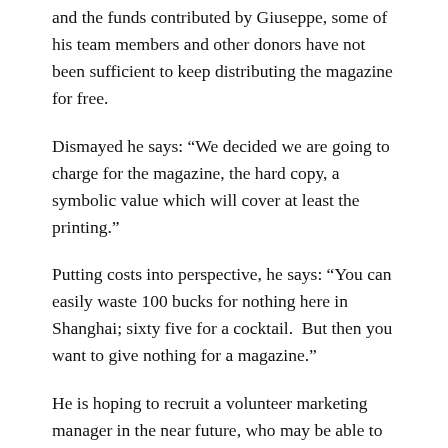and the funds contributed by Giuseppe, some of his team members and other donors have not been sufficient to keep distributing the magazine for free.
Dismayed he says: “We decided we are going to charge for the magazine, the hard copy, a symbolic value which will cover at least the printing.”
Putting costs into perspective, he says: “You can easily waste 100 bucks for nothing here in Shanghai; sixty five for a cocktail.  But then you want to give nothing for a magazine.”
He is hoping to recruit a volunteer marketing manager in the near future, who may be able to help finding sponsors for the magazine so it can be free again.